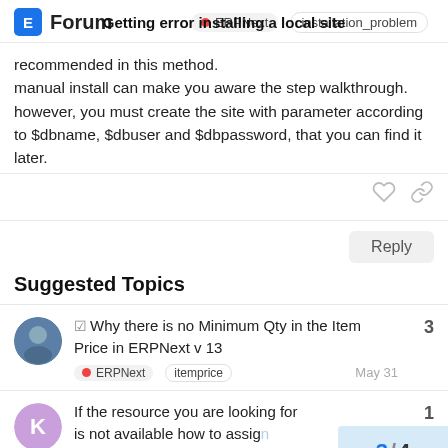Getting error installing a local site | Forum | ERPNext | installation_problem
recommended in this method.
manual install can make you aware the step walkthrough.
however, you must create the site with parameter according to $dbname, $dbuser and $dbpassword, that you can find it later.
Suggested Topics
Why there is no Minimum Qty in the Item Price in ERPNext v 13 — ERPNext itemprice — May 31 — 3 replies
If the resource you are looking for is not available how to assign for the field 0.0 — 1 reply